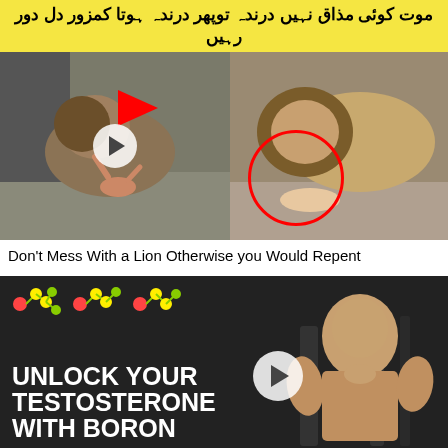[Figure (photo): Urdu text banner: موت کوئی مذاق نہیں درندہ توپھر درندہ ہوتا کمزور دل دور رہیں - yellow background, bold black Urdu text]
[Figure (photo): Two-panel video thumbnail showing lion encounters with humans. Left panel: person near lion with red arrow annotation. Right panel: lion over person on ground with red circle highlight. Play button overlay in center.]
Don't Mess With a Lion Otherwise you Would Repent
[Figure (photo): Video thumbnail showing muscular man flexing with text overlay: UNLOCK YOUR TESTOSTERONE WITH BORON. Molecule graphics in top left corner. Play button overlay.]